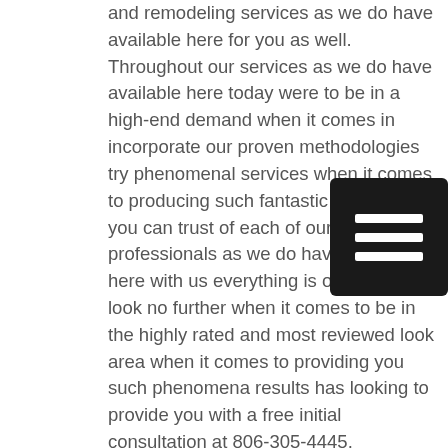and remodeling services as we do have available here for you as well. Throughout our services as we do have available here today were to be in a high-end demand when it comes in incorporate our proven methodologies try phenomenal services when it comes to producing such fantastic results that you can trust of each of our dedicated professionals as we do have available here with us everything is of the way. So look no further when it comes to be in the highly rated and most reviewed look area when it comes to providing you such phenomena results has looking to provide you with a free initial consultation at 806-305-4445.

Throughout of services as we evidently today were to be in high demand when it comes to providing you with the best custom home building services we have available here today when it comes to your new design at Agawam Massachusetts Home Builders. Looking at deliver upon each our phenomenal services as we do have of able
[Figure (other): Hamburger menu icon — three horizontal white bars on a dark square background]